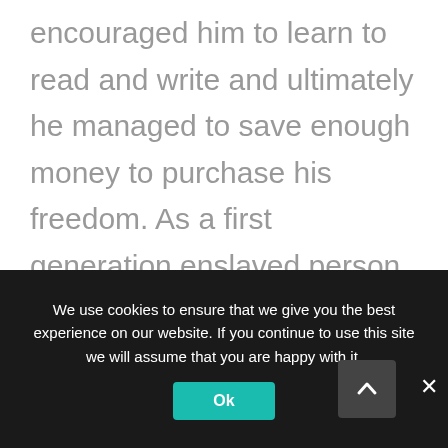encouraged him to learn to read and write and ultimately he managed to save enough money to purchase his freedom. As a first generation enslaved person, Equiano knew of traditional customs in his homeland and could speak to the cruelty of the passage from Africa to the Americas. After purchasing his freedom, he settled in London and visited the House of Commons to listen to debates around slavery. In 1789, he published his Interesting Narrative, which helped to propel him to the forefront of the abolitionist
We use cookies to ensure that we give you the best experience on our website. If you continue to use this site we will assume that you are happy with it.